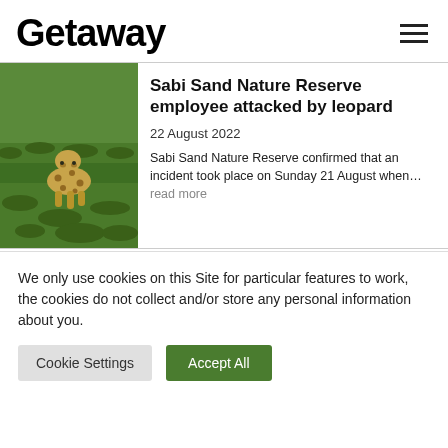Getaway
[Figure (photo): A leopard walking through green grass at Sabi Sand Nature Reserve]
Sabi Sand Nature Reserve employee attacked by leopard
22 August 2022
Sabi Sand Nature Reserve confirmed that an incident took place on Sunday 21 August when... read more
We only use cookies on this Site for particular features to work, the cookies do not collect and/or store any personal information about you.